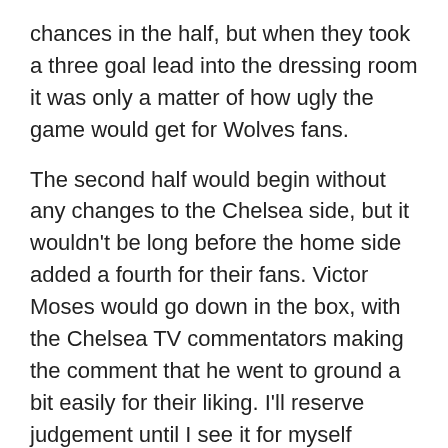chances in the half, but when they took a three goal lead into the dressing room it was only a matter of how ugly the game would get for Wolves fans.
The second half would begin without any changes to the Chelsea side, but it wouldn't be long before the home side added a fourth for their fans. Victor Moses would go down in the box, with the Chelsea TV commentators making the comment that he went to ground a bit easily for their liking. I'll reserve judgement until I see it for myself (Chelsea TV begins replaying the game at midnight BST), but an Oriol Romeu penalty would make it 4-0. The goal was the first in Chelsea blue for the 21-year old (and the first of his senior career), and depending who is tabulating the stats it could also be the first assist for Victor Moses.